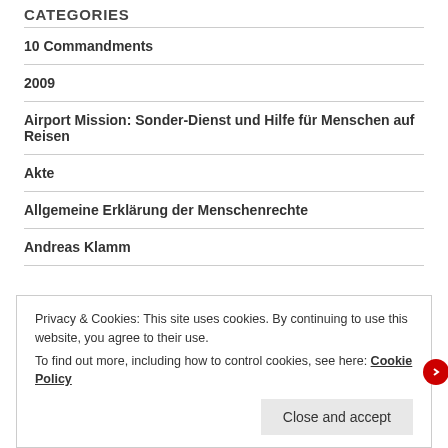CATEGORIES
10 Commandments
2009
Airport Mission: Sonder-Dienst und Hilfe für Menschen auf Reisen
Akte
Allgemeine Erklärung der Menschenrechte
Andreas Klamm
Privacy & Cookies: This site uses cookies. By continuing to use this website, you agree to their use.
To find out more, including how to control cookies, see here: Cookie Policy